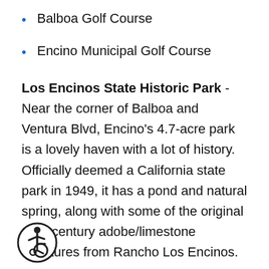Balboa Golf Course
Encino Municipal Golf Course
Los Encinos State Historic Park - Near the corner of Balboa and Ventura Blvd, Encino's 4.7-acre park is a lovely haven with a lot of history. Officially deemed a California state park in 1949, it has a pond and natural spring, along with some of the original 19th-century adobe/limestone structures from Rancho Los Encinos.
Caballero Canyon Trail - In neighboring Tarzana, just up Reseda Boulevard, sits the Caballero Canyon Trail. Hikers take advantage of the networked trails to get a good workout, especially on a few of the steeper ts. Trekkers are always rewarded by nature's calming influence as well as panoramic views of the
[Figure (illustration): Accessibility icon - circular icon with wheelchair user symbol]